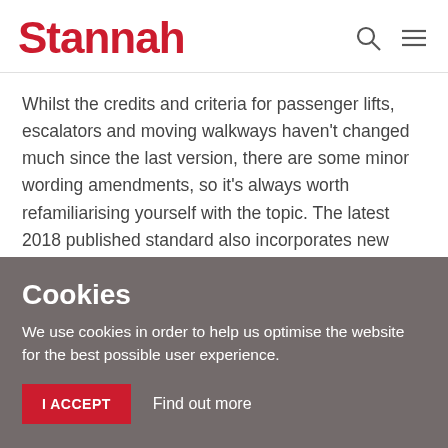Stannah
Whilst the credits and criteria for passenger lifts, escalators and moving walkways haven't changed much since the last version, there are some minor wording amendments, so it's always worth refamiliarising yourself with the topic. The latest 2018 published standard also incorporates new standards for safety.
As part of your BREEAM assessment, Stannah can assist you by providing running costs, environmental performance and
Cookies
We use cookies in order to help us optimise the website for the best possible user experience.
I ACCEPT   Find out more